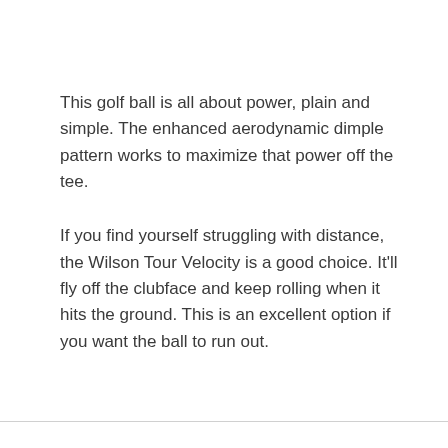This golf ball is all about power, plain and simple. The enhanced aerodynamic dimple pattern works to maximize that power off the tee.
If you find yourself struggling with distance, the Wilson Tour Velocity is a good choice. It'll fly off the clubface and keep rolling when it hits the ground. This is an excellent option if you want the ball to run out.